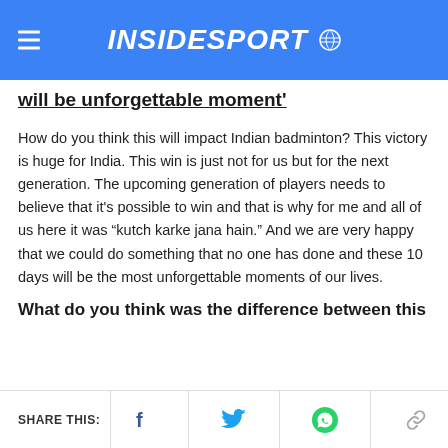INSIDESPORT
will be unforgettable moment'
How do you think this will impact Indian badminton? This victory is huge for India. This win is just not for us but for the next generation. The upcoming generation of players needs to believe that it's possible to win and that is why for me and all of us here it was “kutch karke jana hain.” And we are very happy that we could do something that no one has done and these 10 days will be the most unforgettable moments of our lives.
What do you think was the difference between this
SHARE THIS: